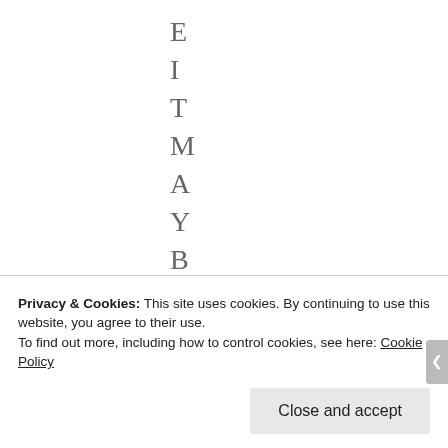E I T M A Y B E S H O
Privacy & Cookies: This site uses cookies. By continuing to use this website, you agree to their use.
To find out more, including how to control cookies, see here: Cookie Policy
Close and accept